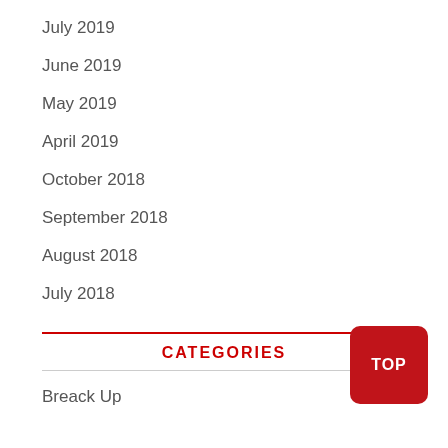July 2019
June 2019
May 2019
April 2019
October 2018
September 2018
August 2018
July 2018
CATEGORIES
Breack Up